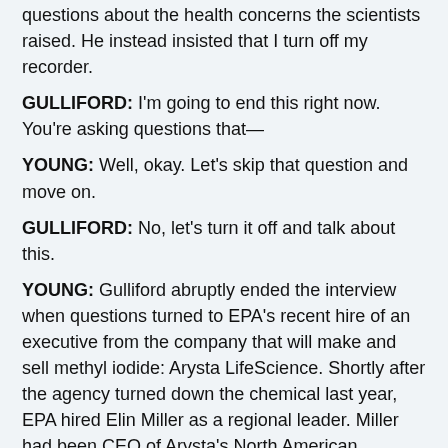questions about the health concerns the scientists raised. He instead insisted that I turn off my recorder.
GULLIFORD: I'm going to end this right now. You're asking questions that—
YOUNG: Well, okay. Let's skip that question and move on.
GULLIFORD: No, let's turn it off and talk about this.
YOUNG: Gulliford abruptly ended the interview when questions turned to EPA's recent hire of an executive from the company that will make and sell methyl iodide: Arysta LifeScience. Shortly after the agency turned down the chemical last year, EPA hired Elin Miller as a regional leader. Miller had been CEO of Arysta's North American operations. A year after her hire, EPA reversed its decision and approved methyl iodide. Miller had been t